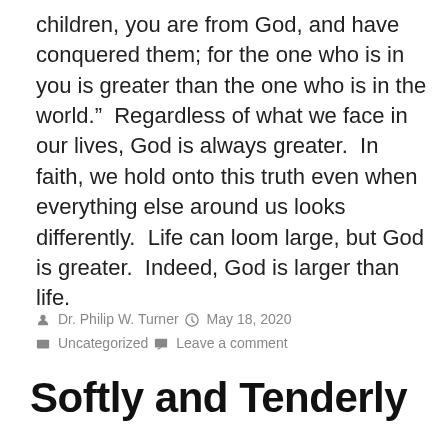children, you are from God, and have conquered them; for the one who is in you is greater than the one who is in the world.”  Regardless of what we face in our lives, God is always greater.  In faith, we hold onto this truth even when everything else around us looks differently.  Life can loom large, but God is greater.  Indeed, God is larger than life.
Dr. Philip W. Turner   May 18, 2020   Uncategorized   Leave a comment
Softly and Tenderly